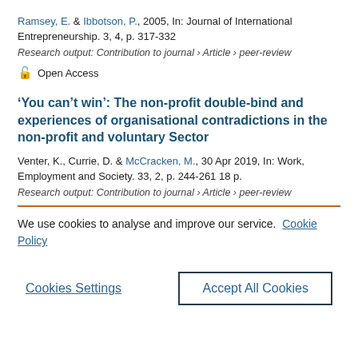Ramsey, E. & Ibbotson, P., 2005, In: Journal of International Entrepreneurship. 3, 4, p. 317-332
Research output: Contribution to journal › Article › peer-review
Open Access
'You can't win': The non-profit double-bind and experiences of organisational contradictions in the non-profit and voluntary Sector
Venter, K., Currie, D. & McCracken, M., 30 Apr 2019, In: Work, Employment and Society. 33, 2, p. 244-261 18 p.
Research output: Contribution to journal › Article › peer-review
We use cookies to analyse and improve our service. Cookie Policy
Cookies Settings
Accept All Cookies